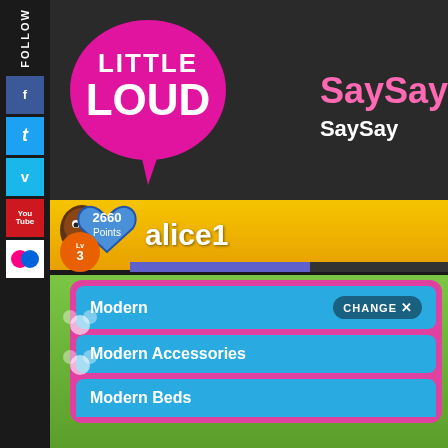[Figure (logo): Little Loud speech bubble logo - pink/magenta bubble with white text LITTLE LOUD]
SaySay
SaySay
FOLLOW
f
t
v
You Tube
2660 Points
Lv 3
alice1
Modern
CHANGE X
Modern Accessories
Modern Beds